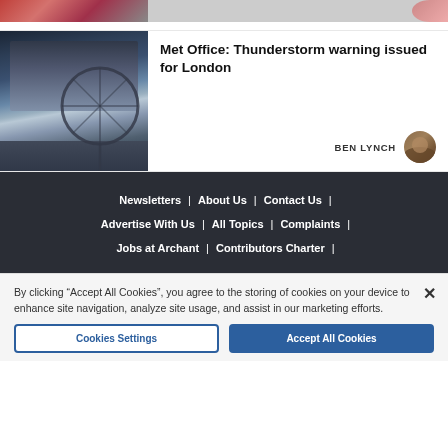[Figure (photo): Partial top strip showing a group of people photo cropped at top]
[Figure (photo): Stormy sky over London Eye (Ferris wheel) on the Thames]
Met Office: Thunderstorm warning issued for London
BEN LYNCH
[Figure (photo): Author avatar photo of Ben Lynch]
Newsletters | About Us | Contact Us | Advertise With Us | All Topics | Complaints | Jobs at Archant | Contributors Charter |
By clicking “Accept All Cookies”, you agree to the storing of cookies on your device to enhance site navigation, analyze site usage, and assist in our marketing efforts.
Cookies Settings
Accept All Cookies